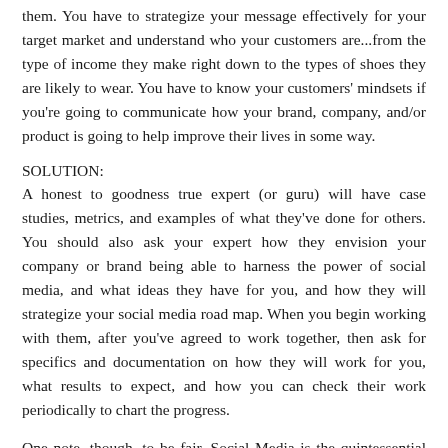them. You have to strategize your message effectively for your target market and understand who your customers are...from the type of income they make right down to the types of shoes they are likely to wear. You have to know your customers' mindsets if you're going to communicate how your brand, company, and/or product is going to help improve their lives in some way.
SOLUTION:
A honest to goodness true expert (or guru) will have case studies, metrics, and examples of what they've done for others. You should also ask your expert how they envision your company or brand being able to harness the power of social media, and what ideas they have for you, and how they will strategize your social media road map. When you begin working with them, after you've agreed to work together, then ask for specifics and documentation on how they will work for you, what results to expect, and how you can check their work periodically to chart the progress.
One note, though, to be fair, Social Media is the quintessential real life example of the old saying, “Good, Fast, Cheap...Pick Any